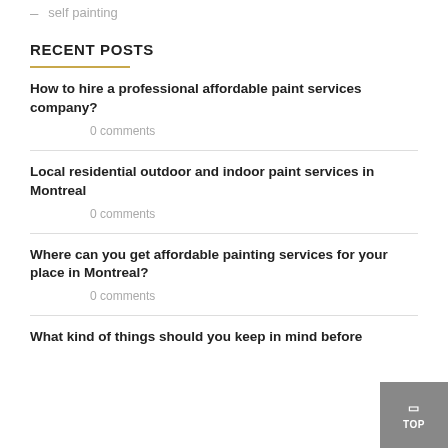self painting
RECENT POSTS
How to hire a professional affordable paint services company?
0 comments
Local residential outdoor and indoor paint services in Montreal
0 comments
Where can you get affordable painting services for your place in Montreal?
0 comments
What kind of things should you keep in mind before